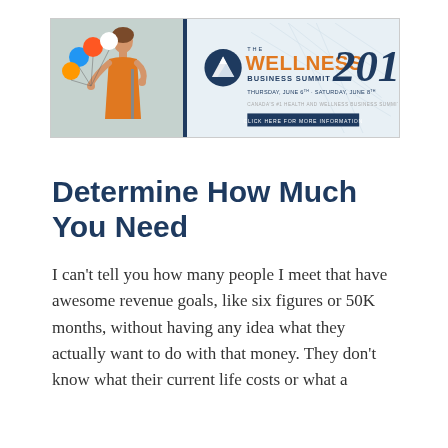[Figure (other): Wellness Business Summit 2019 banner ad. Left side shows a woman in an orange dress presenting with colorful balloons. Right side shows the summit logo (mountain icon), text 'THE WELLNESS BUSINESS SUMMIT 2019', dates 'THURSDAY, JUNE 6TH - SATURDAY, JUNE 8TH', and a 'CLICK HERE FOR MORE INFORMATION' button.]
Determine How Much You Need
I can't tell you how many people I meet that have awesome revenue goals, like six figures or 50K months, without having any idea what they actually want to do with that money. They don't know what their current life costs or what a